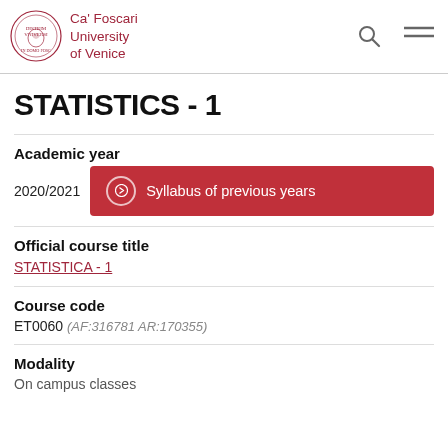Ca' Foscari University of Venice
STATISTICS - 1
Academic year
2020/2021
Syllabus of previous years
Official course title
STATISTICA - 1
Course code
ET0060 (AF:316781 AR:170355)
Modality
On campus classes